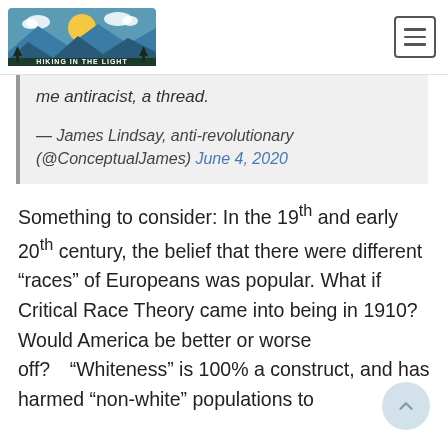HIKING IN THE LIGHT
me antiracist, a thread.

— James Lindsay, anti-revolutionary (@ConceptualJames) June 4, 2020
Something to consider: In the 19th and early 20th century, the belief that there were different “races” of Europeans was popular. What if Critical Race Theory came into being in 1910? Would America be better or worse off?  “Whiteness” is 100% a construct, and has harmed “non-white” populations to